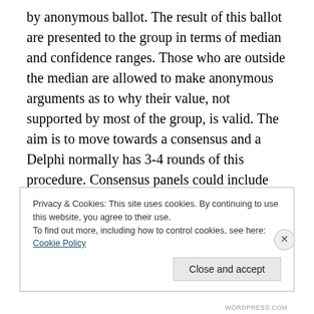by anonymous ballot. The result of this ballot are presented to the group in terms of median and confidence ranges. Those who are outside the median are allowed to make anonymous arguments as to why their value, not supported by most of the group, is valid. The aim is to move towards a consensus and a Delphi normally has 3-4 rounds of this procedure. Consensus panels could include different types of experts: e.g. government officials, aid workers, village elders and technical experts to identify factors making areas liable to famine. Factors can be pruned, weighted and related to existing data through
Privacy & Cookies: This site uses cookies. By continuing to use this website, you agree to their use.
To find out more, including how to control cookies, see here: Cookie Policy
Close and accept
WORDPRESS.COM